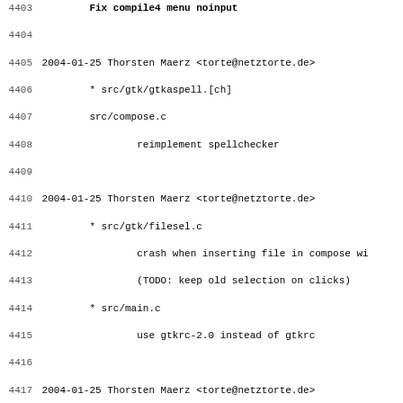4403 ... (truncated top line)
4404
4405 2004-01-25 Thorsten Maerz <torte@netztorte.de>
4406         * src/gtk/gtkaspell.[ch]
4407         src/compose.c
4408                 reimplement spellchecker
4409
4410 2004-01-25 Thorsten Maerz <torte@netztorte.de>
4411         * src/gtk/filesel.c
4412                 crash when inserting file in compose wi
4413                 (TODO: keep old selection on clicks)
4414         * src/main.c
4415                 use gtkrc-2.0 instead of gtkrc
4416
4417 2004-01-25 Thorsten Maerz <torte@netztorte.de>
4418         * src/messageview.c
4419                 remove orphaned mimeview unref()
4420
4421 2004-01-20 Thorsten Maerz <torte@netztorte.de>
4422         * src/grouplistdialog.c
4423                 expand nodes containing subscribed grou
4424
4425 2004-01-19 Thorsten Maerz <torte@netztorte.de>
4426         * src/textview.c
4427                 textview: hide cursor, restore old clic
4428
4429 2004-01-18 Thorsten Maerz <torte@netztorte.de>
4430         * src/textview.c
4431                 variable names messed up
4432
4433 2004-01-17 Colin Leroy <colin@colino.net>
4434         * src/addr_compl.c
4435                 Fix completion address too thin